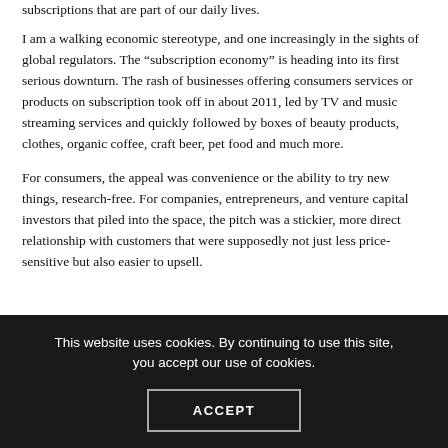subscriptions that are part of our daily lives.
I am a walking economic stereotype, and one increasingly in the sights of global regulators. The “subscription economy” is heading into its first serious downturn. The rash of businesses offering consumers services or products on subscription took off in about 2011, led by TV and music streaming services and quickly followed by boxes of beauty products, clothes, organic coffee, craft beer, pet food and much more.
For consumers, the appeal was convenience or the ability to try new things, research-free. For companies, entrepreneurs, and venture capital investors that piled into the space, the pitch was a stickier, more direct relationship with customers that were supposedly not just less price-sensitive but also easier to upsell.
This website uses cookies. By continuing to use this site, you accept our use of cookies.
ACCEPT